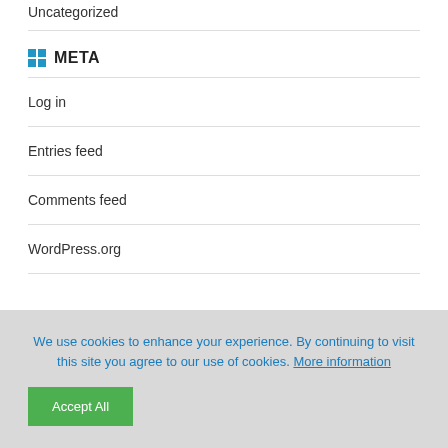Uncategorized
META
Log in
Entries feed
Comments feed
WordPress.org
We use cookies to enhance your experience. By continuing to visit this site you agree to our use of cookies. More information
Accept All